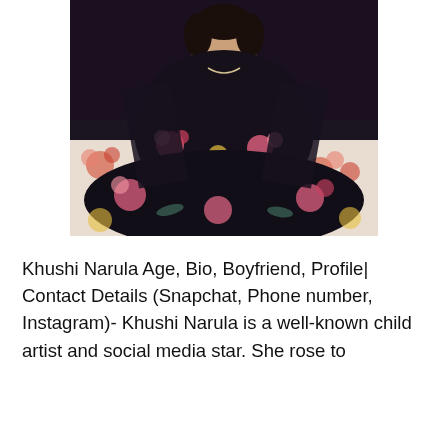[Figure (photo): A young woman wearing a black floral dress sitting on a floral-patterned sofa. The dress has pink, red, yellow, and teal flowers on a dark background. She is wearing a necklace and looking at the camera.]
Khushi Narula Age, Bio, Boyfriend, Profile| Contact Details (Snapchat, Phone number, Instagram)- Khushi Narula is a well-known child artist and social media star. She rose to